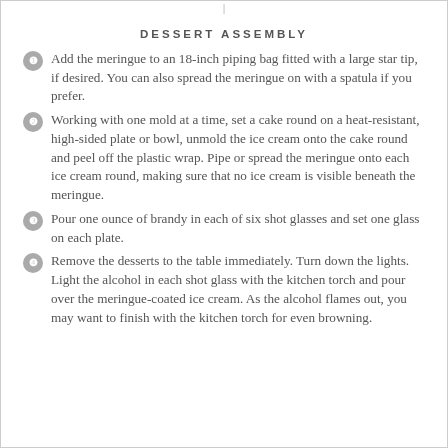DESSERT ASSEMBLY
Add the meringue to an 18-inch piping bag fitted with a large star tip, if desired. You can also spread the meringue on with a spatula if you prefer.
Working with one mold at a time, set a cake round on a heat-resistant, high-sided plate or bowl, unmold the ice cream onto the cake round and peel off the plastic wrap. Pipe or spread the meringue onto each ice cream round, making sure that no ice cream is visible beneath the meringue.
Pour one ounce of brandy in each of six shot glasses and set one glass on each plate.
Remove the desserts to the table immediately. Turn down the lights. Light the alcohol in each shot glass with the kitchen torch and pour over the meringue-coated ice cream. As the alcohol flames out, you may want to finish with the kitchen torch for even browning.